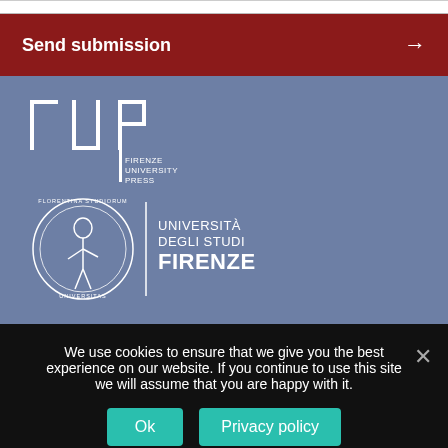[Figure (screenshot): Empty input bar at top of page]
Send submission →
[Figure (logo): FUP - Firenze University Press logo in white on blue-grey background]
[Figure (logo): Università degli Studi Firenze seal and text logo]
We use cookies to ensure that we give you the best experience on our website. If you continue to use this site we will assume that you are happy with it.
Ok
Privacy policy